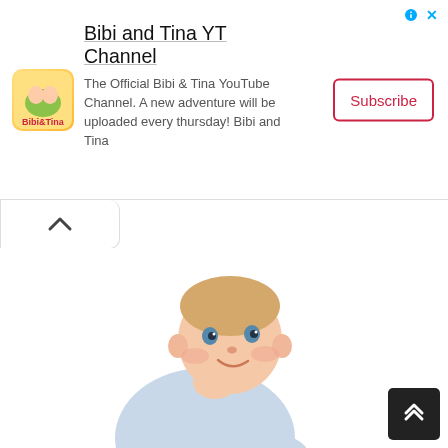[Figure (infographic): Advertisement banner for Bibi and Tina YT Channel showing logo, channel title, description, and subscribe button]
Bibi and Tina YT Channel
The Official Bibi & Tina YouTube Channel. A new adventure will be uploaded every thursday! Bibi and Tina
[Figure (photo): A baby in a light blue long-sleeve outfit crawling on a white fluffy surface, looking up at the camera and smiling]